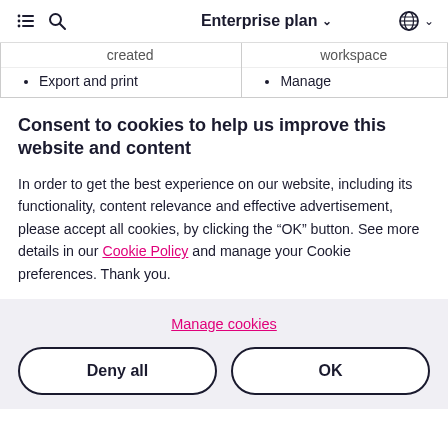Enterprise plan
| created | workspace |
| Export and print | Manage |
Consent to cookies to help us improve this website and content
In order to get the best experience on our website, including its functionality, content relevance and effective advertisement, please accept all cookies, by clicking the “OK” button. See more details in our Cookie Policy and manage your Cookie preferences. Thank you.
Manage cookies
Deny all
OK